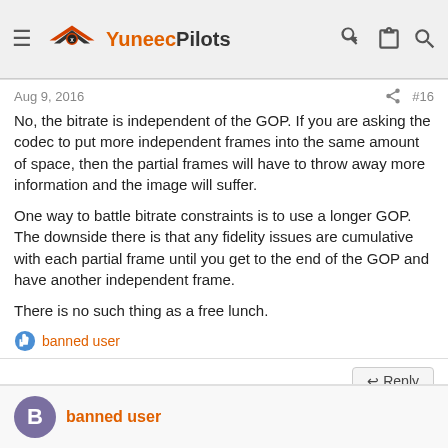[Figure (logo): YuneecPilots website header with hamburger menu, winged logo, site name, and nav icons]
Aug 9, 2016    #16
No, the bitrate is independent of the GOP. If you are asking the codec to put more independent frames into the same amount of space, then the partial frames will have to throw away more information and the image will suffer.
One way to battle bitrate constraints is to use a longer GOP. The downside there is that any fidelity issues are cumulative with each partial frame until you get to the end of the GOP and have another independent frame.
There is no such thing as a free lunch.
banned user
↩ Reply
banned user